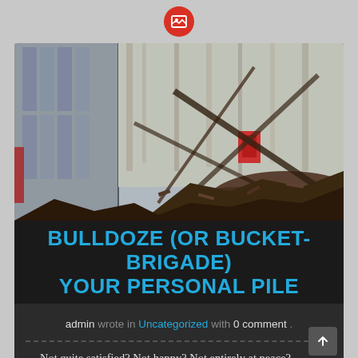[Figure (photo): Photograph of Ground Zero debris — collapsed metal beams, rubble, damaged building facades in background]
BULLDOZE (OR BUCKET-BRIGADE) YOUR PERSONAL PILE
admin wrote in Uncategorized with 0 comment .
Not quite satisfied? Not happy? Not entirely at peace? Survey your life. Assess your personal pile. Start your cleanup effort, as we did at Ground Zero. Do it one bucket at a time and don't stop. Enlist help